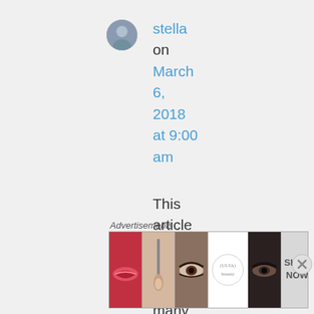[Figure (photo): Small circular avatar photo of a person]
stella
on
March 6, 2018 at 9:00 am
This article brings back so many
Advertisements
[Figure (infographic): Beauty advertisement banner showing makeup images including lips with red lipstick, makeup brush, eyes with mascara, Ulta Beauty logo, smoky eyes close-up, and SHOP NOW text]